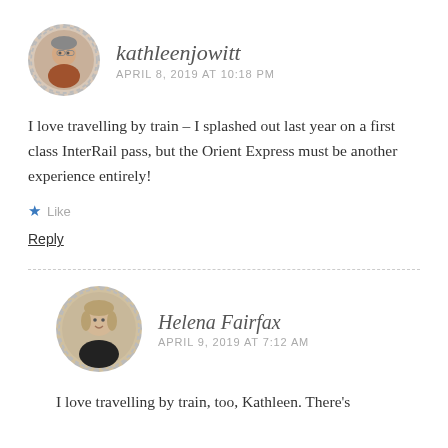[Figure (photo): Circular avatar photo of kathleenjowitt with dashed border]
kathleenjowitt
APRIL 8, 2019 AT 10:18 PM
I love travelling by train – I splashed out last year on a first class InterRail pass, but the Orient Express must be another experience entirely!
★ Like
Reply
[Figure (photo): Circular avatar photo of Helena Fairfax with dashed border]
Helena Fairfax
APRIL 9, 2019 AT 7:12 AM
I love travelling by train, too, Kathleen. There's